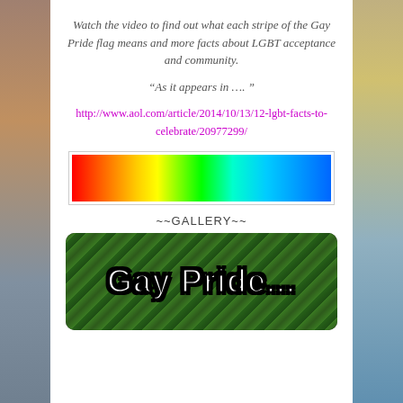Watch the video to find out what each stripe of the Gay Pride flag means and more facts about LGBT acceptance and community.
“As it appears in …. ”
http://www.aol.com/article/2014/10/13/12-lgbt-facts-to-celebrate/20977299/
[Figure (illustration): A horizontal rainbow gradient bar showing the spectrum of colors from red on the left to blue on the right, enclosed in a light gray border.]
~~GALLERY~~
[Figure (illustration): A gallery image showing a green forest canopy background with bold white text reading 'Gay Pride...' in a dark-bordered frame.]